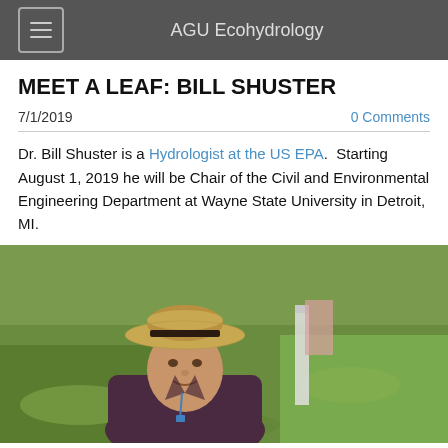AGU Ecohydrology
MEET A LEAF: BILL SHUSTER
7/1/2019
0 Comments
Dr. Bill Shuster is a Hydrologist at the US EPA. Starting August 1, 2019 he will be Chair of the Civil and Environmental Engineering Department at Wayne State University in Detroit, MI.
[Figure (photo): Photo of Dr. Bill Shuster wearing a straw hat, smiling, with green grassy field background and a white structure visible behind him.]